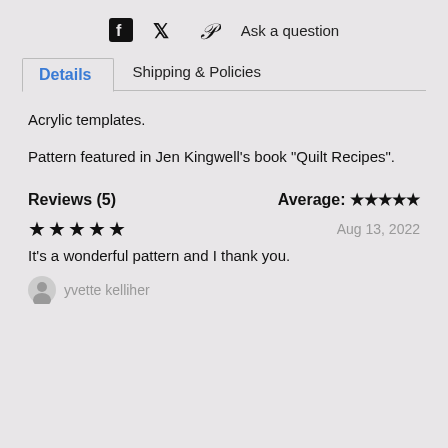[Figure (other): Social sharing icons: Facebook, Twitter, Pinterest, and Ask a question link]
Details   Shipping & Policies
Acrylic templates.
Pattern featured in Jen Kingwell's book "Quilt Recipes".
Reviews (5)   Average: ★★★★★
★★★★★   Aug 13, 2022
It's a wonderful pattern and I thank you.
yvette kelliher